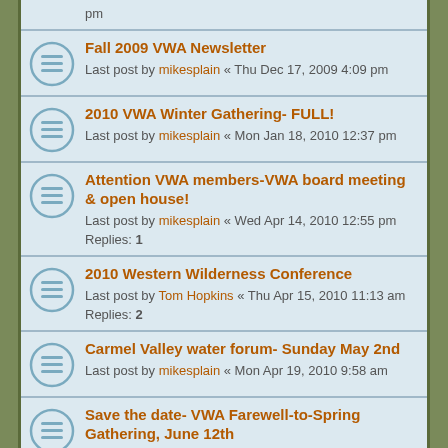pm (partial top row)
Fall 2009 VWA Newsletter - Last post by mikesplain « Thu Dec 17, 2009 4:09 pm
2010 VWA Winter Gathering- FULL! - Last post by mikesplain « Mon Jan 18, 2010 12:37 pm
Attention VWA members-VWA board meeting & open house! - Last post by mikesplain « Wed Apr 14, 2010 12:55 pm - Replies: 1
2010 Western Wilderness Conference - Last post by Tom Hopkins « Thu Apr 15, 2010 11:13 am - Replies: 2
Carmel Valley water forum- Sunday May 2nd - Last post by mikesplain « Mon Apr 19, 2010 9:58 am
Save the date- VWA Farewell-to-Spring Gathering, June 12th - Last post by mikesplain « Mon Apr 26, 2010 1:10 pm
Lost Camps & Trails: Carmel Valley & (partial bottom row)